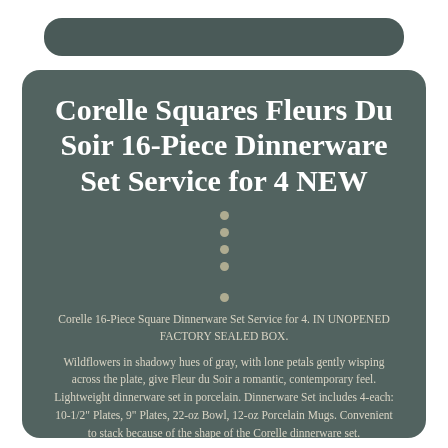Corelle Squares Fleurs Du Soir 16-Piece Dinnerware Set Service for 4 NEW
Corelle 16-Piece Square Dinnerware Set Service for 4. IN UNOPENED FACTORY SEALED BOX.
Wildflowers in shadowy hues of gray, with lone petals gently wisping across the plate, give Fleur du Soir a romantic, contemporary feel. Lightweight dinnerware set in porcelain. Dinnerware Set includes 4-each: 10-1/2" Plates, 9" Plates, 22-oz Bowl, 12-oz Porcelain Mugs. Convenient to stack because of the shape of the Corelle dinnerware set.